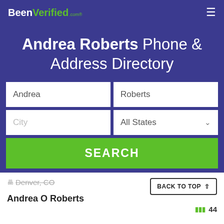BeenVerified.com
Andrea Roberts Phone & Address Directory
Andrea | Roberts
City | All States
SEARCH
Denver, CO
BACK TO TOP ↑
Andrea O Roberts